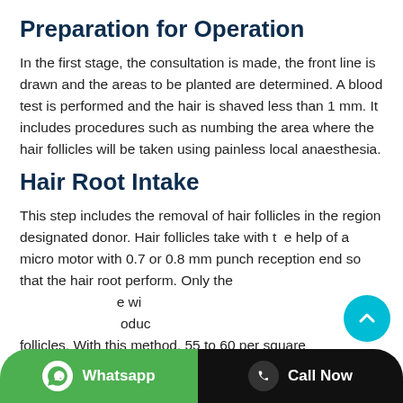Preparation for Operation
In the first stage, the consultation is made, the front line is drawn and the areas to be planted are determined. A blood test is performed and the hair is shaved less than 1 mm. It includes procedures such as numbing the area where the hair follicles will be taken using painless local anaesthesia.
Hair Root Intake
This step includes the removal of hair follicles in the region designated donor. Hair follicles take with the help of a micro motor with 0.7 or 0.8 mm punch reception end so that the hair root perform. Only the ... follicles. With this method, 55 to 60 per square